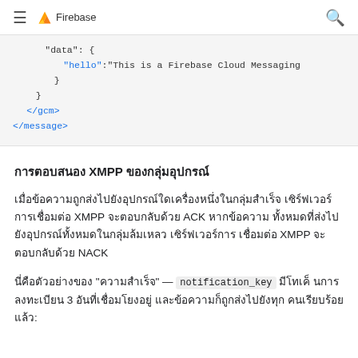Firebase
"data": {
    "hello":"This is a Firebase Cloud Messaging
}
}
</gcm>
</message>
การตอบสนอง XMPP ของกลุ่มอุปกรณ์
เมื่อข้อความถูกส่งไปยังอุปกรณ์ใดเครื่องหนึ่งในกลุ่มสำเร็จ เซิร์ฟเวอร์การเชื่อมต่อ XMPP จะตอบกลับด้วย ACK หากข้อความทั้งหมดที่ส่งไปยังอุปกรณ์ทั้งหมดในกลุ่มล้มเหลว เซิร์ฟเวอร์การเชื่อมต่อ XMPP จะตอบกลับด้วย NACK
นี่คือตัวอย่างของ "ความสำเร็จ" — notification_key มีโทเค็นการลงทะเบียน 3 อันที่เชื่อมโยงอยู่ และข้อความก็ถูกส่งไปยังทุกคนเรียบร้อยแล้ว: